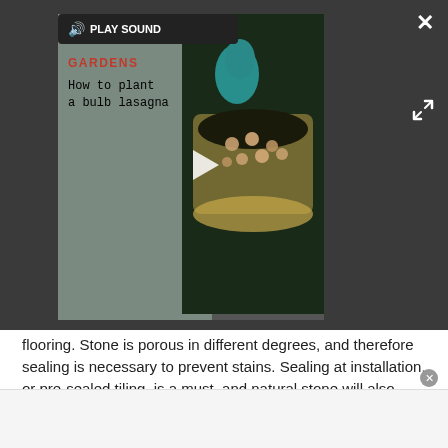[Figure (screenshot): Video player overlay showing a 'GARDENS - How to plant a bulb lasagna' video thumbnail with a person planting bulbs in a pot. Has PLAY SOUND button, close X, and expand icon.]
flooring. Stone is porous in different degrees, and therefore sealing is necessary to prevent stains. Sealing at installation, or pre-sealed tiling, is a must, and natural stone will also need to be resealed at intervals over the years.
Like other tiles, natural stone is a surface which isn't forgiving if an item is dropped, doesn't offer any give underfoot, and without underfloor heating feels cool, which may be an unwelcome sensation depending on where you